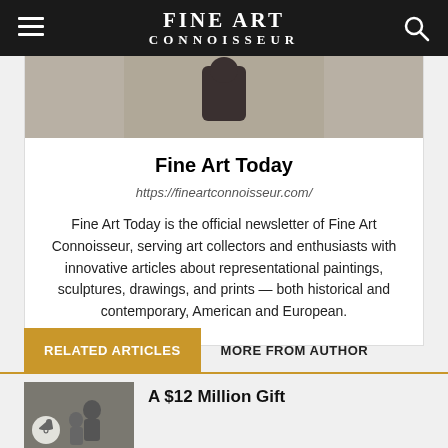FINE ART CONNOISSEUR
[Figure (photo): Partial author photo showing a figure near water]
Fine Art Today
https://fineartconnoisseur.com/
Fine Art Today is the official newsletter of Fine Art Connoisseur, serving art collectors and enthusiasts with innovative articles about representational paintings, sculptures, drawings, and prints — both historical and contemporary, American and European.
RELATED ARTICLES
MORE FROM AUTHOR
[Figure (photo): Thumbnail photo showing two people in front of artwork]
A $12 Million Gift